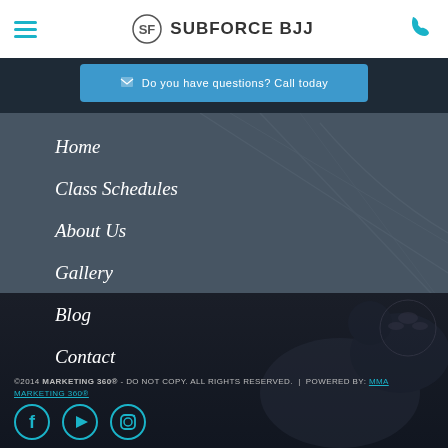SUBFORCE BJJ
Do you have questions? Call today
Home
Class Schedules
About Us
Gallery
Blog
Contact
©2014 MARKETING 360® - DO NOT COPY. ALL RIGHTS RESERVED.  |  POWERED BY: MMA MARKETING 360®